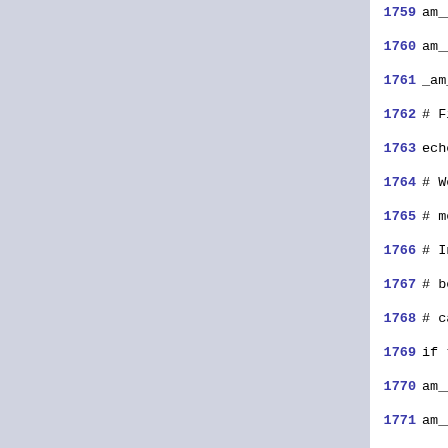1759 am__include= #
1760 am__quote=
1761 _am_result=none
1762 # First try GNU make style i
1763 echo "include confinc" > conf
1764 # We grep out `Entering direc
1765 # messages which can occur if
1766 # In particular we don't look
1767 # be invoked under some other
1768 # case it prints its new name
1769 if test "`$am_make -s -f conf
1770     am__include=include
1771     am__quote=
1772     _am_result=GNU
1773 fi
1774 # Now try BSD make style inc
1775 if test "$am__include" = "#"